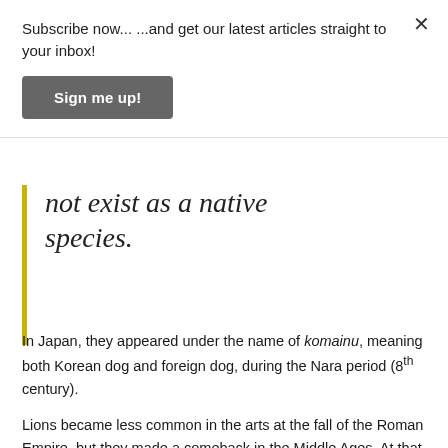Subscribe now... ...and get our latest articles straight to your inbox!
Sign me up!
not exist as a native species.
In Japan, they appeared under the name of komainu, meaning both Korean dog and foreign dog, during the Nara period (8th century).
Lions became less common in the arts at the fall of the Roman Empire, but they made a comeback in the Middle Ages. At that time, artists barely travelled and could not study lions; but far from being deterred, they used dogs as